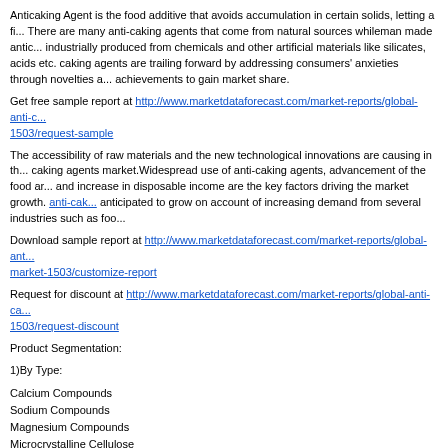Anticaking Agent is the food additive that avoids accumulation in certain solids, letting a fi... There are many anti-caking agents that come from natural sources whileman made antic... industrially produced from chemicals and other artificial materials like silicates, acids etc. caking agents are trailing forward by addressing consumers' anxieties through novelties a... achievements to gain market share.
Get free sample report at http://www.marketdataforecast.com/market-reports/global-anti-c... 1503/request-sample
The accessibility of raw materials and the new technological innovations are causing in th... caking agents market.Widespread use of anti-caking agents, advancement of the food ar... and increase in disposable income are the key factors driving the market growth. anti-cak... anticipated to grow on account of increasing demand from several industries such as foo...
Download sample report at http://www.marketdataforecast.com/market-reports/global-ant... market-1503/customize-report
Request for discount at http://www.marketdataforecast.com/market-reports/global-anti-ca... 1503/request-discount
Product Segmentation:
1)By Type:
Calcium Compounds
Sodium Compounds
Magnesium Compounds
Microcrystalline Cellulose
Silicon Dioxide
2)By Application:
Spice
Seasoning & Condiments
Bakery
Flavour
Beverages
Dairy